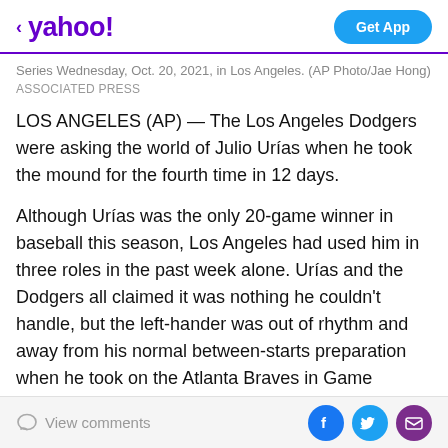< yahoo!  Get App
Series Wednesday, Oct. 20, 2021, in Los Angeles. (AP Photo/Jae Hong)
ASSOCIATED PRESS
LOS ANGELES (AP) — The Los Angeles Dodgers were asking the world of Julio Urías when he took the mound for the fourth time in 12 days.
Although Urías was the only 20-game winner in baseball this season, Los Angeles had used him in three roles in the past week alone. Urías and the Dodgers all claimed it was nothing he couldn't handle, but the left-hander was out of rhythm and away from his normal between-starts preparation when he took on the Atlanta Braves in Game
View comments